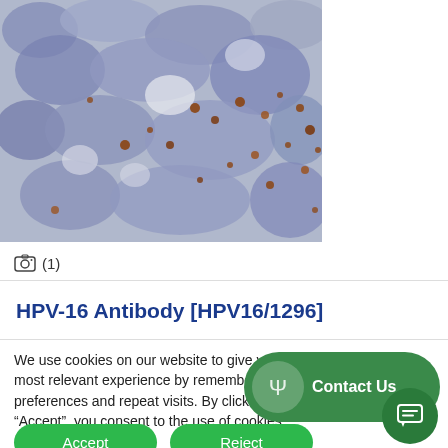[Figure (photo): Microscopy immunohistochemistry image showing cells stained blue/purple with scattered brown dots, representing HPV-16 antibody staining]
(1)
HPV-16 Antibody [HPV16/1296]
We use cookies on our website to give you the most relevant experience by remembering your preferences and repeat visits. By clicking “Accept”, you consent to the use of cookies.
Accept
Reject
Contact Us